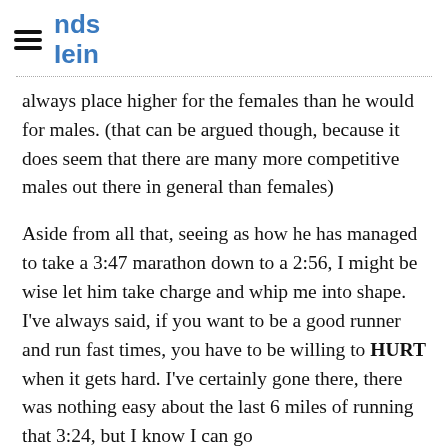nds
Iein
always place higher for the females than he would for males. (that can be argued though, because it does seem that there are many more competitive males out there in general than females)
Aside from all that, seeing as how he has managed to take a 3:47 marathon down to a 2:56, I might be wise let him take charge and whip me into shape. I've always said, if you want to be a good runner and run fast times, you have to be willing to HURT when it gets hard. I've certainly gone there, there was nothing easy about the last 6 miles of running that 3:24, but I know I can go